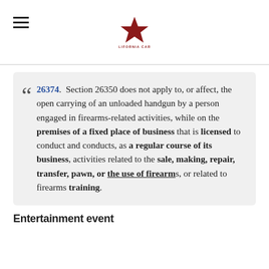California Carry (logo)
26374. Section 26350 does not apply to, or affect, the open carrying of an unloaded handgun by a person engaged in firearms-related activities, while on the premises of a fixed place of business that is licensed to conduct and conducts, as a regular course of its business, activities related to the sale, making, repair, transfer, pawn, or the use of firearms, or related to firearms training.
Entertainment event